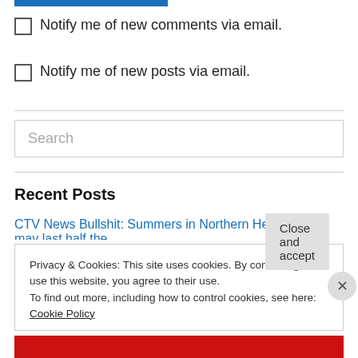Notify me of new comments via email.
Notify me of new posts via email.
Search
Recent Posts
CTV News Bullshit: Summers in Northern Hemisphere may last half the
Privacy & Cookies: This site uses cookies. By continuing to use this website, you agree to their use. To find out more, including how to control cookies, see here: Cookie Policy
Close and accept